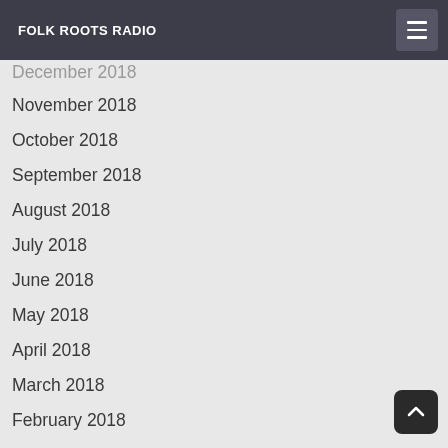FOLK ROOTS RADIO
December 2018
November 2018
October 2018
September 2018
August 2018
July 2018
June 2018
May 2018
April 2018
March 2018
February 2018
January 2018
December 2017
November 2017
October 2017
September 2017